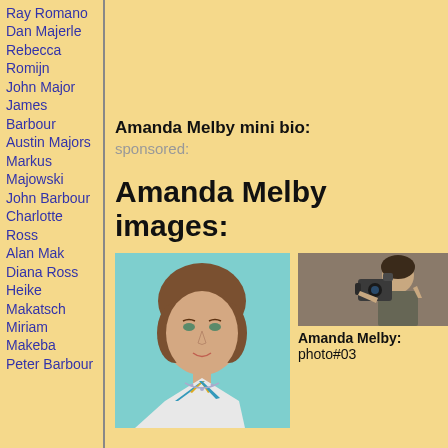Ray Romano
Dan Majerle
Rebecca Romijn
John Major
James Barbour
Austin Majors
Markus Majowski
John Barbour
Charlotte Ross
Alan Mak
Diana Ross
Heike Makatsch
Miriam Makeba
Peter Barbour
Amanda Melby mini bio:
sponsored:
Amanda Melby images:
[Figure (photo): Portrait photo of Amanda Melby, young woman with brown hair, wearing striped halter top]
[Figure (photo): Man holding old camera to his face]
Amanda Melby: photo#03